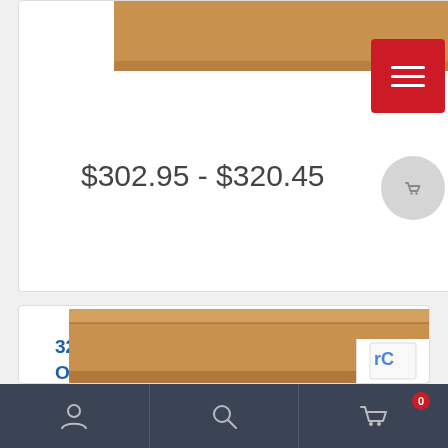$302.95 - $320.45
[Figure (screenshot): Partial product card showing a kraft brown box image at the top, price range $302.95 - $320.45, a red hamburger menu button, and a gray cart icon button]
32lb Brown Kraft Negative Preserver, Open End, Plain - Not Printed, with Flap, 14-1/2" ...
S-38095
[Figure (photo): Partial view of a kraft brown cardboard box]
Account | Search | Cart (0)